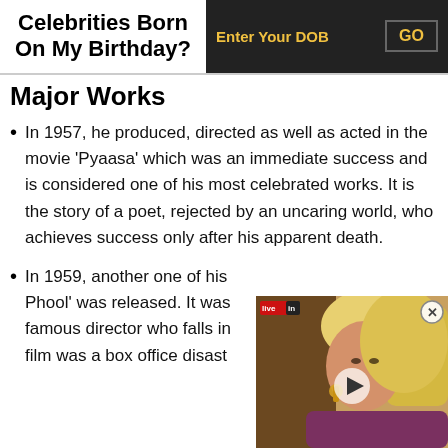Celebrities Born On My Birthday?
Major Works
In 1957, he produced, directed as well as acted in the movie 'Pyaasa' which was an immediate success and is considered one of his most celebrated works. It is the story of a poet, rejected by an uncaring world, who achieves success only after his apparent death.
In 1959, another one of his 'Kaagaz Ke Phool' was released. It was ... famous director who falls in ... film was a box office disast...
[Figure (photo): Video overlay thumbnail showing a woman with blonde hair and hoop earrings, with a play button, close button, and 'livein' logo watermark in the top left.]